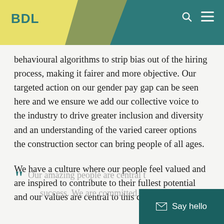BDL
behavioural algorithms to strip bias out of the hiring process, making it fairer and more objective. Our targeted action on our gender pay gap can be seen here and we ensure we add our collective voice to the industry to drive greater inclusion and diversity and an understanding of the varied career options the construction sector can bring people of all ages.
We have a culture where our people feel valued and are inspired to contribute to their fullest potential and our values are central to this commitment.
“ Our amazing people are central to our success. We are committed to cultivating